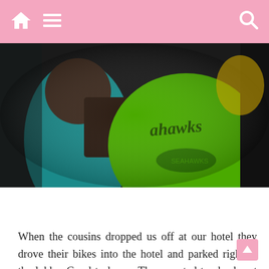Navigation bar with home, menu, and search icons
[Figure (photo): Close-up photo of people wearing sports jerseys, including a bright green Seahawks jersey, in a dark setting]
When the cousins dropped us off at our hotel they drove their bikes into the hotel and parked right in the lobby. Good to know. They wanted to check out our rooms so they came up. I think Nancy ran up first to throw our clothes into the closet. We weren't prepared for company. The little ones played on our ipads, they were in heaven. Being the great hostess I am, I started rummaging around for food to give them. I had an open pack of dried squid I bought while at the airport in Japan. It's like fish jerky. They loved it. Now every time I go to